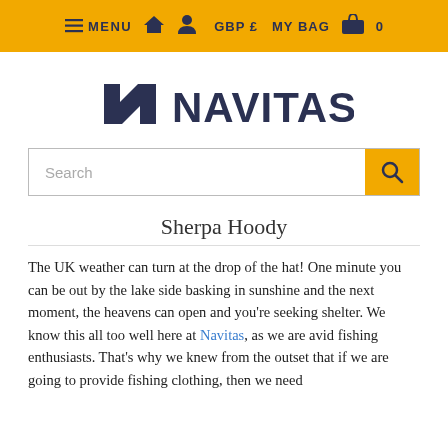☰ MENU  🏠  👤  GBP £  MY BAG  🛍  0
[Figure (logo): Navitas logo with stylized N icon and NAVITAS wordmark in dark navy blue]
Search
Sherpa Hoody
The UK weather can turn at the drop of the hat! One minute you can be out by the lake side basking in sunshine and the next moment, the heavens can open and you're seeking shelter. We know this all too well here at Navitas, as we are avid fishing enthusiasts. That's why we knew from the outset that if we are going to provide fishing clothing, then we need